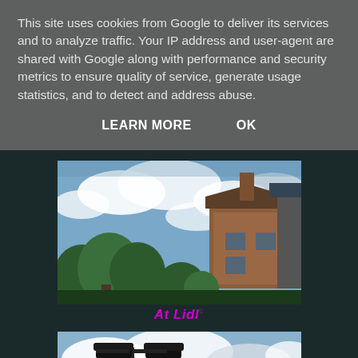This site uses cookies from Google to deliver its services and to analyze traffic. Your IP address and user-agent are shared with Google along with performance and security metrics to ensure quality of service, generate usage statistics, and to detect and address abuse.
LEARN MORE    OK
[Figure (photo): Outdoor photo showing a brick house with a chimney, trees, and a cloudy sky. Photo taken from a low angle.]
At Lidl↓
[Figure (photo): Outdoor photo showing a street lamp, a bus stop sign, and cloudy sky. A green Lidl logo sign is partially visible at the bottom right.]